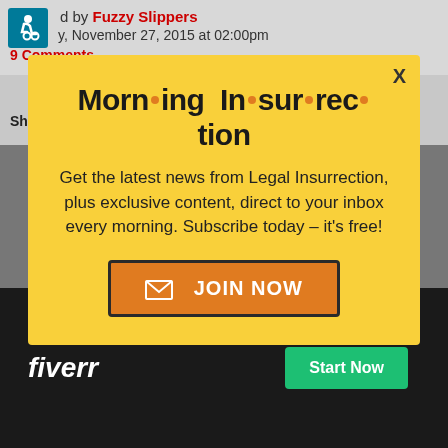d by Fuzzy Slippers, November 27, 2015 at 02:00pm
9 Comments
Share This Story
[Figure (screenshot): Facebook and Twitter share buttons]
[Figure (infographic): Morning Insurrection modal popup with yellow background. Title: Morn·ing In·sur·rec·tion. Body: Get the latest news from Legal Insurrection, plus exclusive content, direct to your inbox every morning. Subscribe today – it's free! JOIN NOW button in orange.]
[Figure (screenshot): Fiverr advertisement at bottom with dark background, fiverr logo and Start Now green button]